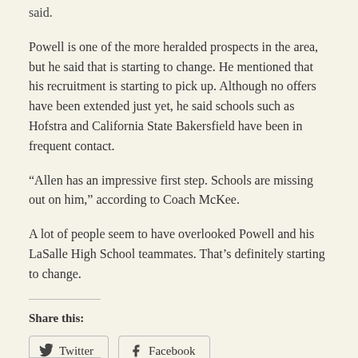said.
Powell is one of the more heralded prospects in the area, but he said that is starting to change. He mentioned that his recruitment is starting to pick up. Although no offers have been extended just yet, he said schools such as Hofstra and California State Bakersfield have been in frequent contact.
“Allen has an impressive first step. Schools are missing out on him,” according to Coach McKee.
A lot of people seem to have overlooked Powell and his LaSalle High School teammates. That’s definitely starting to change.
Share this:
Twitter  Facebook
Loading...